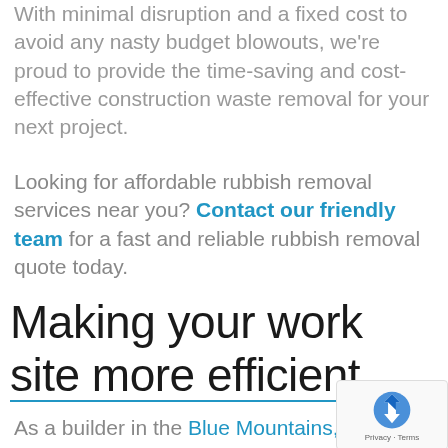With minimal disruption and a fixed cost to avoid any nasty budget blowouts, we're proud to provide the time-saving and cost-effective construction waste removal for your next project.
Looking for affordable rubbish removal services near you? Contact our friendly team for a fast and reliable rubbish removal quote today.
Making your work site more efficient
As a builder in the Blue Mountains, West...